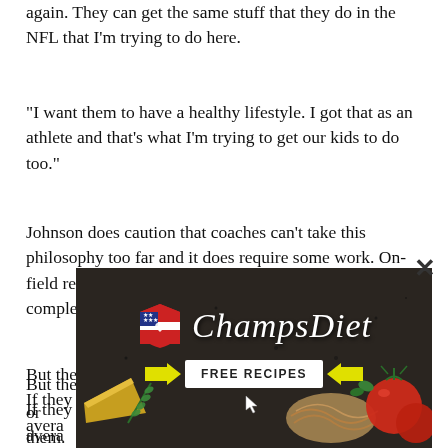again. They can get the same stuff that they do in the NFL that I'm trying to do here.
“I want them to have a healthy lifestyle. I got that as an athlete and that’s what I’m trying to get our kids to do too.”
Johnson does caution that coaches can’t take this philosophy too far and it does require some work. On-field reps are still vitally important and can’t be completely replaced by video.
But the major key is teaching your players how to watch. If they don’t know what to look for or view games as an average fan, it won’t do much for them. ... coaches to sit down ... them what to look for.
[Figure (advertisement): ChampsDiet advertisement banner with logo (American flag shield), cursive brand name 'ChampsDiet', and 'FREE RECIPES' call-to-action button with yellow arrows, overlaid on dark background with food imagery (tomatoes, pasta, cheese, herbs)]